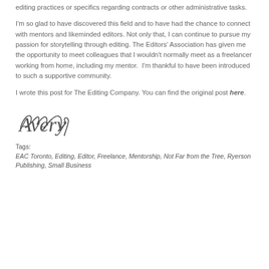editing practices or specifics regarding contracts or other administrative tasks.
I'm so glad to have discovered this field and to have had the chance to connect with mentors and likeminded editors. Not only that, I can continue to pursue my passion for storytelling through editing. The Editors' Association has given me the opportunity to meet colleagues that I wouldn't normally meet as a freelancer working from home, including my mentor.  I'm thankful to have been introduced to such a supportive community.
I wrote this post for The Editing Company. You can find the original post here.
[Figure (illustration): Handwritten cursive signature reading 'Avery']
Tags:
EAC Toronto, Editing, Editor, Freelance, Mentorship, Not Far from the Tree, Ryerson Publishing, Small Business